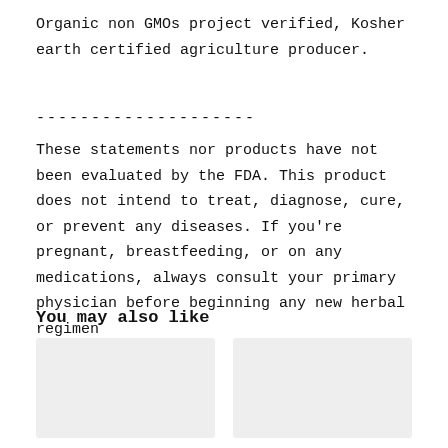Organic non GMOs project verified, Kosher earth certified agriculture producer.
--------------------
These statements nor products have not been evaluated by the FDA. This product does not intend to treat, diagnose, cure, or prevent any diseases. If you’re pregnant, breastfeeding, or on any medications, always consult your primary physician before beginning any new herbal regimen
You may also like
[Figure (other): Two product image placeholders (grey rectangles) shown side by side under 'You may also like' section]